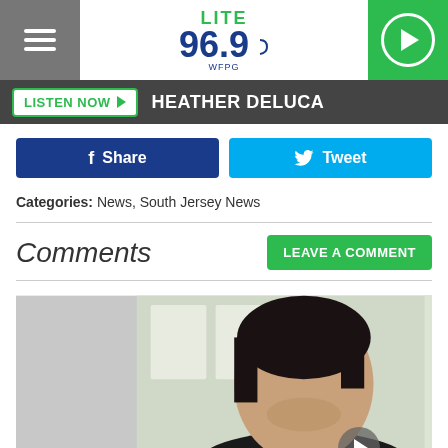LITE 96.9 WFPG
LISTEN NOW ▶  HEATHER DELUCA
f Share   🐦 Tweet
Categories: News, South Jersey News
Comments
LEAVE A COMMENT
[Figure (photo): Photo of two people: a young man with dark hair and a young woman with long red hair, both facing the camera. There is also a small play button overlay in the lower right area of the image.]